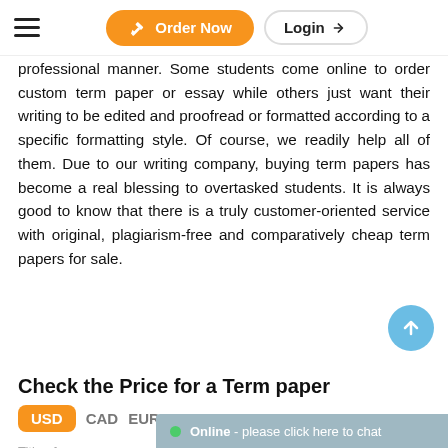Order Now  Login
professional manner. Some students come online to order custom term paper or essay while others just want their writing to be edited and proofread or formatted according to a specific formatting style. Of course, we readily help all of them. Due to our writing company, buying term papers has become a real blessing to overtasked students. It is always good to know that there is a truly customer-oriented service with original, plagiarism-free and comparatively cheap term papers for sale.
Check the Price for a Term paper
USD  CAD  EUR  GBP  AUD
Title of your paper
Title of your paper
Type of assignment
Online - please click here to chat